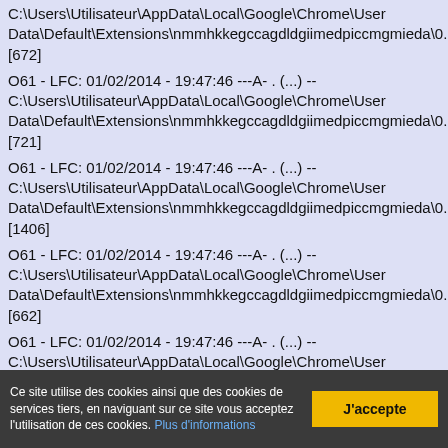C:\Users\Utilisateur\AppData\Local\Google\Chrome\User Data\Default\Extensions\nmmhkkegccagdldgiimedpiccmgmieda\0.0. [672]
O61 - LFC: 01/02/2014 - 19:47:46 ---A- . (...) -- C:\Users\Utilisateur\AppData\Local\Google\Chrome\User Data\Default\Extensions\nmmhkkegccagdldgiimedpiccmgmieda\0.0. [721]
O61 - LFC: 01/02/2014 - 19:47:46 ---A- . (...) -- C:\Users\Utilisateur\AppData\Local\Google\Chrome\User Data\Default\Extensions\nmmhkkegccagdldgiimedpiccmgmieda\0.0. [1406]
O61 - LFC: 01/02/2014 - 19:47:46 ---A- . (...) -- C:\Users\Utilisateur\AppData\Local\Google\Chrome\User Data\Default\Extensions\nmmhkkegccagdldgiimedpiccmgmieda\0.0. [662]
O61 - LFC: 01/02/2014 - 19:47:46 ---A- . (...) -- C:\Users\Utilisateur\AppData\Local\Google\Chrome\User Data\Default\Extensions\nmmhkkegccagdldgiimedpiccmgmieda\0.0. [766]
Ce site utilise des cookies ainsi que des cookies de services tiers, en naviguant sur ce site vous acceptez l'utilisation de ces cookies. Plus d'informations   J'accepte